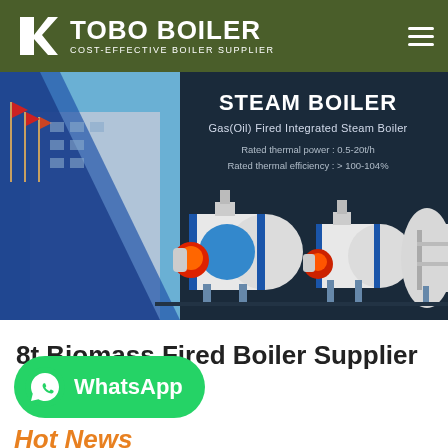[Figure (logo): TOBO BOILER logo with tagline COST-EFFECTIVE BOILER SUPPLIER on olive green header background]
[Figure (photo): Steam boiler product banner showing Gas(Oil) Fired Integrated Steam Boiler with rated thermal power 0.5-20t/h and rated thermal efficiency >100-104%, showing multiple white/blue industrial boiler units on dark background with building on left]
8t Biomass Fired Boiler Supplier
[Figure (other): WhatsApp contact button (green rounded rectangle with WhatsApp icon and text)]
Hot News